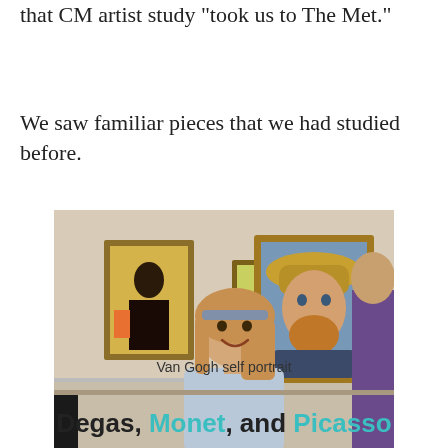that CM artist study “took us to The Met.”
We saw familiar pieces that we had studied before.
[Figure (photo): A smiling young girl with long hair and a grey headband standing in front of Van Gogh paintings on a museum wall at The Met. A larger portrait painting (Van Gogh self portrait with straw hat) is prominently displayed behind her, with another painting of a seated figure in yellow to the left. Another museum visitor in a purple shirt is partially visible on the right.]
Van Gogh self portrait
Degas, Monet, and Picasso